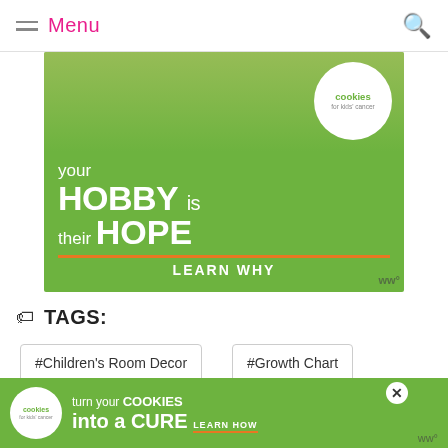Menu
[Figure (photo): Advertisement for Cookies for Kids Cancer: green background with hands holding a heart-shaped cookie, text 'your HOBBY is their HOPE — LEARN WHY', Cookies for Kids Cancer logo in white circle]
TAGS:
#Children's Room Decor
#Growth Chart
[Figure (photo): Bottom advertisement for Cookies for Kids Cancer: 'turn your COOKIES into a CURE LEARN HOW']